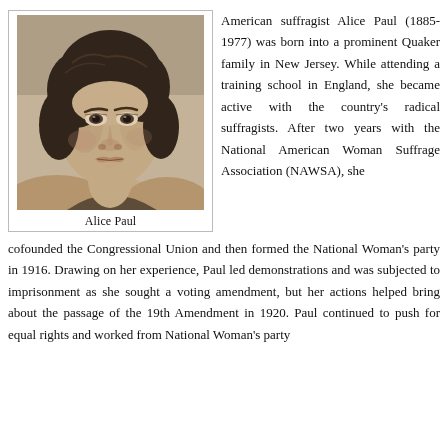[Figure (photo): Black and white portrait photograph of Alice Paul, a young woman with short dark hair looking directly at the camera.]
Alice Paul
American suffragist Alice Paul (1885-1977) was born into a prominent Quaker family in New Jersey. While attending a training school in England, she became active with the country's radical suffragists. After two years with the National American Woman Suffrage Association (NAWSA), she cofounded the Congressional Union and then formed the National Woman's party in 1916. Drawing on her experience, Paul led demonstrations and was subjected to imprisonment as she sought a voting amendment, but her actions helped bring about the passage of the 19th Amendment in 1920. Paul continued to push for equal rights and worked from National Woman's party